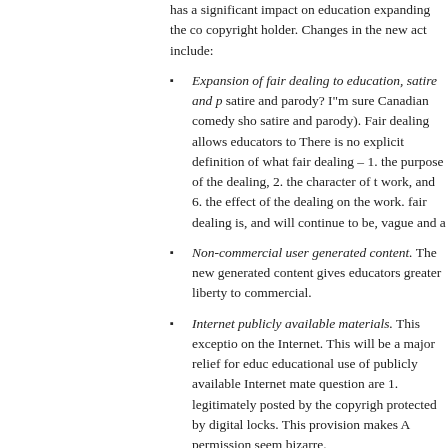has a significant impact on education expanding the copyright holder. Changes in the new act include:
Expansion of fair dealing to education, satire and parody? I"m sure Canadian comedy shows are happy (satire and parody). Fair dealing allows educators to... There is no explicit definition of what fair dealing – 1. the purpose of the dealing, 2. the character of the work, and 6. the effect of the dealing on the work. fair dealing is, and will continue to be, vague and a...
Non-commercial user generated content. The new generated content gives educators greater liberty to... commercial.
Internet publicly available materials. This exception on the Internet. This will be a major relief for educators... educational use of publicly available Internet materials... question are 1. legitimately posted by the copyright... protected by digital locks. This provision makes A... permission seem bizarre.
Public performances in schools. The new act allows... been acquired legitimately. This amendment lifts r... show such materials. Coupled with the Internet ru...